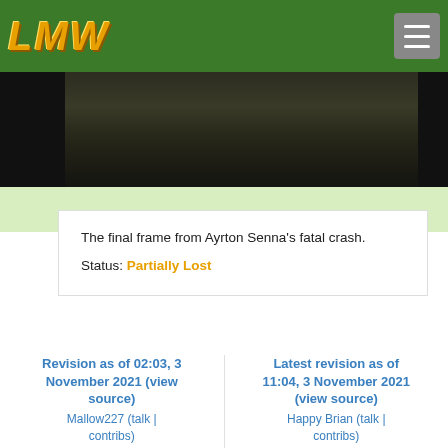LMW (logo) with hamburger menu button
[Figure (photo): Dark photograph strip, the final frame from Ayrton Senna's fatal crash]
The final frame from Ayrton Senna's fatal crash.
Status: Partially Lost
Revision as of 02:03, 3 November 2021 (view source)
Mallow227 (talk | contribs)
m
← Older edit
Latest revision as of 11:04, 3 November 2021 (view source)
Happy Brian (talk | contribs)
(Replaced dead links with Wayback Machine mirrors.)